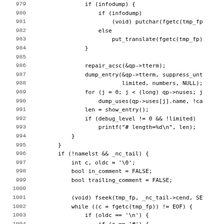[Figure (other): Source code listing in C, lines 979-1011, showing terminal info dump and comment parsing logic]